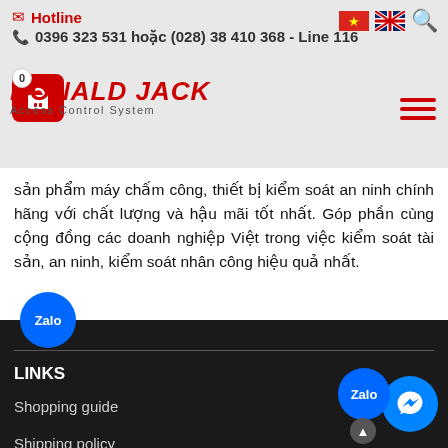Hotline
0396 323 531 hoặc (028) 38 410 368 - Line 116
[Figure (logo): Ronald Jack Access Control System logo with shopping cart and hamburger menu]
sản phẩm máy chấm công, thiết bị kiểm soát an ninh chính hãng với chất lượng và hậu mãi tốt nhất. Góp phần cùng cộng đồng các doanh nghiệp Việt trong việc kiểm soát tài sản, an ninh, kiểm soát nhân công hiệu quả nhất.
LINKS
Shopping guide
Shipping policy
Payment policy
Distribution policy